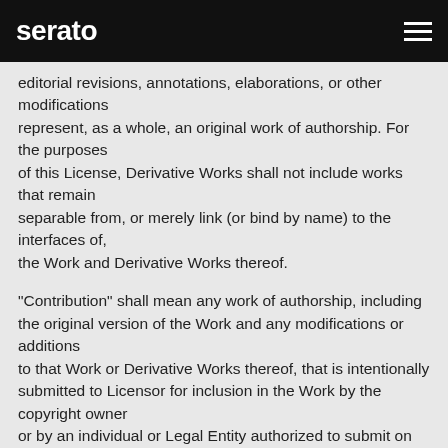serato
editorial revisions, annotations, elaborations, or other modifications represent, as a whole, an original work of authorship. For the purposes of this License, Derivative Works shall not include works that remain separable from, or merely link (or bind by name) to the interfaces of, the Work and Derivative Works thereof.
"Contribution" shall mean any work of authorship, including the original version of the Work and any modifications or additions to that Work or Derivative Works thereof, that is intentionally submitted to Licensor for inclusion in the Work by the copyright owner or by an individual or Legal Entity authorized to submit on behalf of